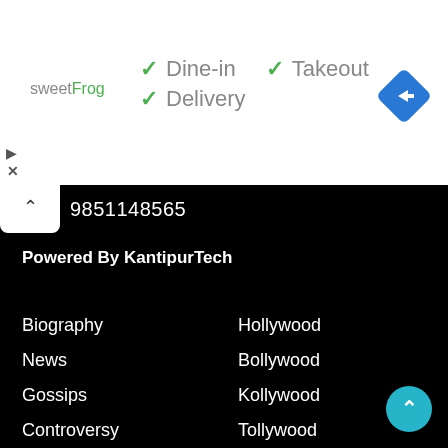[Figure (logo): sweetFrog logo in grey and green text]
✓ Dine-in ✓ Takeout ✓ Delivery
[Figure (other): Blue diamond navigation/directions icon with white arrow]
9851148565
Powered By KantipurTech
Biography
News
Gossips
Controversy
Video
Hollywood
Bollywood
Kollywood
Tollywood
Lollywood